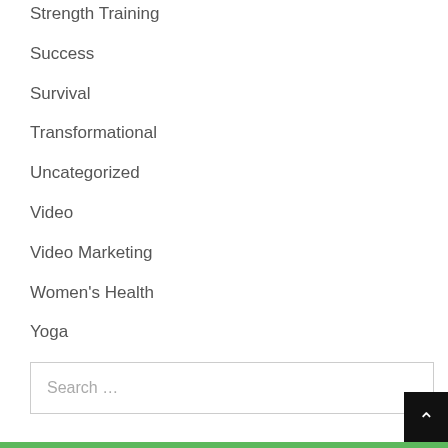Strength Training
Success
Survival
Transformational
Uncategorized
Video
Video Marketing
Women's Health
Yoga
Search ...